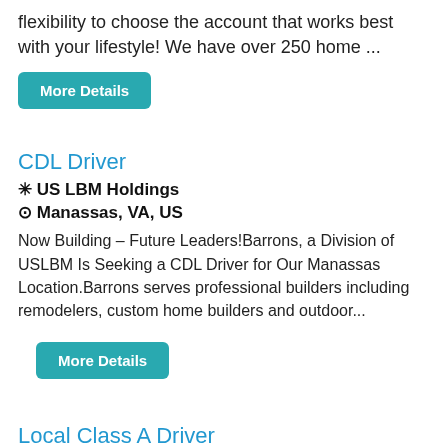flexibility to choose the account that works best with your lifestyle! We have over 250 home ...
More Details
CDL Driver
✳ US LBM Holdings
⊙ Manassas, VA, US
Now Building – Future Leaders!Barrons, a Division of USLBM Is Seeking a CDL Driver for Our Manassas Location.Barrons serves professional builders including remodelers, custom home builders and outdoor...
More Details
Local Class A Driver
✳ A Duie Pyle
⊙ Chantilly, VA, US
Job Description:Your Dream Job Is HereWho Says You